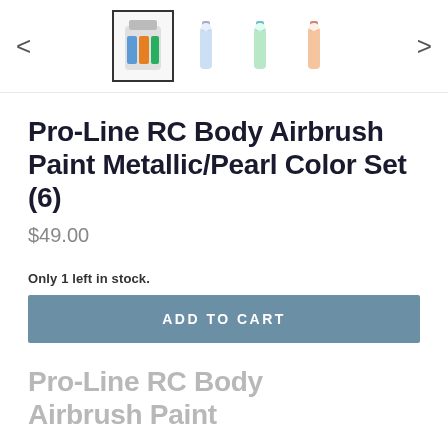[Figure (screenshot): Thumbnail navigation bar with left arrow, four product thumbnails (first selected with border), and right arrow. Thumbnails show paint bottle images.]
Pro-Line RC Body Airbrush Paint Metallic/Pearl Color Set (6)
$49.00
Only 1 left in stock.
ADD TO CART
Pro-Line RC Body Airbrush Paint